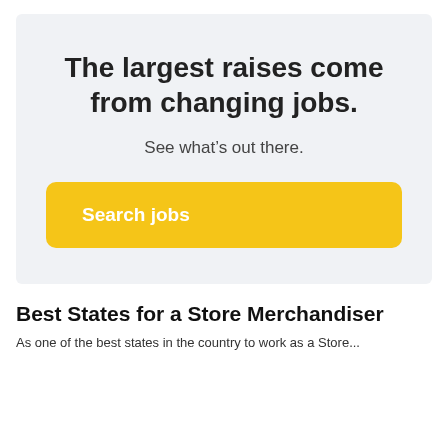The largest raises come from changing jobs.
See what’s out there.
Search jobs
Best States for a Store Merchandiser
As one of the best states in the country to work as a Store...